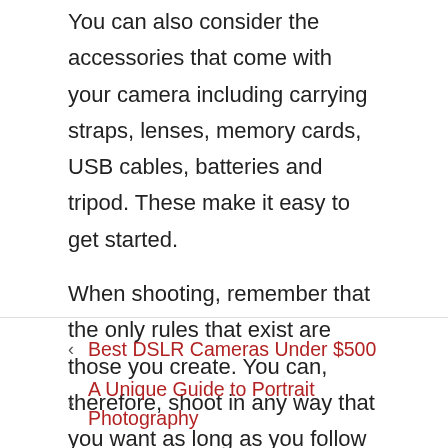You can also consider the accessories that come with your camera including carrying straps, lenses, memory cards, USB cables, batteries and tripod. These make it easy to get started.
When shooting, remember that the only rules that exist are those you create. You can, therefore, shoot in any way that you want as long as you follow the simple guidelines above.
< Best DSLR Cameras Under $500
> A Unique Guide to Portrait Photography